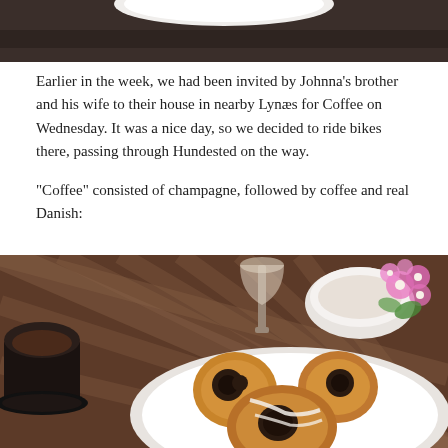[Figure (photo): Top portion of a photo showing a white plate on a table, cropped so only the upper part is visible against a dark background.]
Earlier in the week, we had been invited by Johnna's brother and his wife to their house in nearby Lynæs for Coffee on Wednesday. It was a nice day, so we decided to ride bikes there, passing through Hundested on the way.
“Coffee” consisted of champagne, followed by coffee and real Danish:
[Figure (photo): Photo of a table set with Danish pastries on a white plate in the foreground, a champagne glass, a cup of coffee, a bowl, and pink flowers in the background, on a brown checkered tablecloth.]